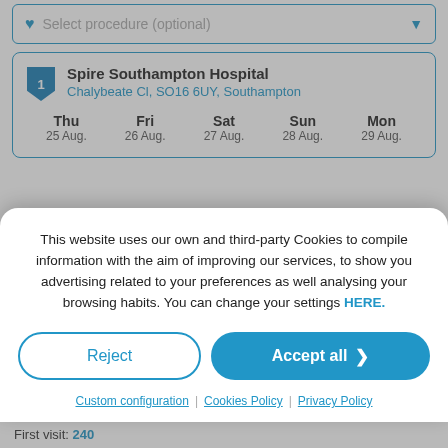Select procedure (optional)
1 Spire Southampton Hospital
Chalybeate Cl, SO16 6UY, Southampton
Thu 25 Aug. | Fri 26 Aug. | Sat 27 Aug. | Sun 28 Aug. | Mon 29 Aug.
Next available appointment
This website uses our own and third-party Cookies to compile information with the aim of improving our services, to show you advertising related to your preferences as well analysing your browsing habits. You can change your settings HERE.
Reject
Accept all
Custom configuration | Cookies Policy | Privacy Policy
First visit: 240